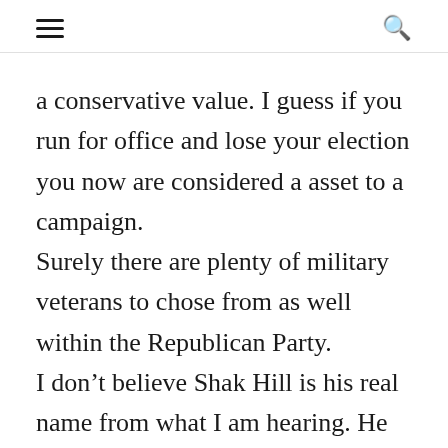≡  🔍
a conservative value. I guess if you run for office and lose your election you now are considered a asset to a campaign. Surely there are plenty of military veterans to chose from as well within the Republican Party. I don't believe Shak Hill is his real name from what I am hearing. He had a totally different name at one time. I can understand Shak's desire to